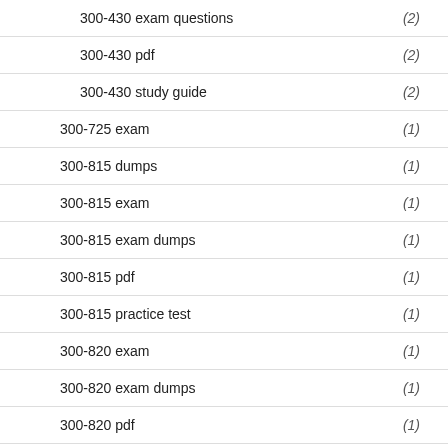300-430 exam questions (2)
300-430 pdf (2)
300-430 study guide (2)
300-725 exam (1)
300-815 dumps (1)
300-815 exam (1)
300-815 exam dumps (1)
300-815 pdf (1)
300-815 practice test (1)
300-820 exam (1)
300-820 exam dumps (1)
300-820 pdf (1)